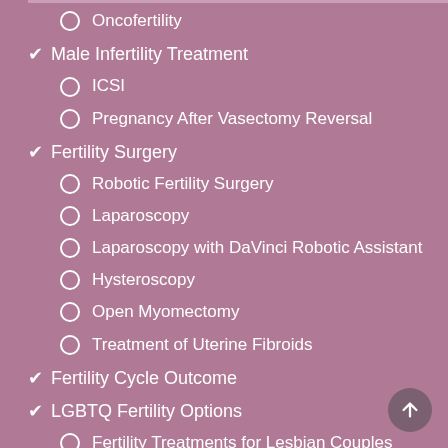Oncofertility
Male Infertility Treatment
ICSI
Pregnancy After Vasectomy Reversal
Fertility Surgery
Robotic Fertility Surgery
Laparoscopy
Laparoscopy with DaVinci Robotic Assistant
Hysteroscopy
Open Myomectomy
Treatment of Uterine Fibroids
Fertility Cycle Outcome
LGBTQ Fertility Options
Fertility Treatments for Lesbian Couples